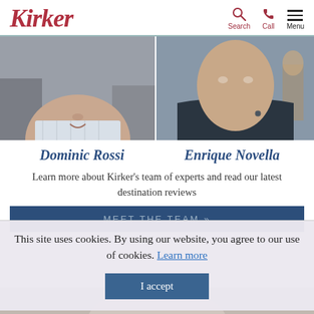Kirker | Search | Call | Menu
[Figure (photo): Photo of Dominic Rossi, a man in a light striped shirt outdoors]
[Figure (photo): Photo of Enrique Novella, a man in a dark jacket outdoors]
Dominic Rossi
Enrique Novella
Learn more about Kirker's team of experts and read our latest destination reviews
MEET THE TEAM »
This site uses cookies. By using our website, you agree to our use of cookies. Learn more
I accept